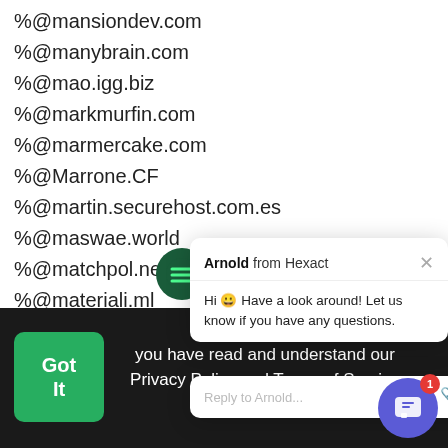%@mansiondev.com
%@manybrain.com
%@mao.igg.biz
%@markmurfin.com
%@marmercake.com
%@Marrone.CF
%@martin.securehost.com.es
%@maswae.world
%@matchpol.net
%@materiali.ml
%@mbe.kr
%@mbx.cc
[Figure (screenshot): Chat popup from Arnold from Hexact saying: Hi 😀 Have a look around! Let us know if you have any questions. With a reply box at the bottom.]
By using you have read and understand our Privacy Policy and Terms of Service More
Got It